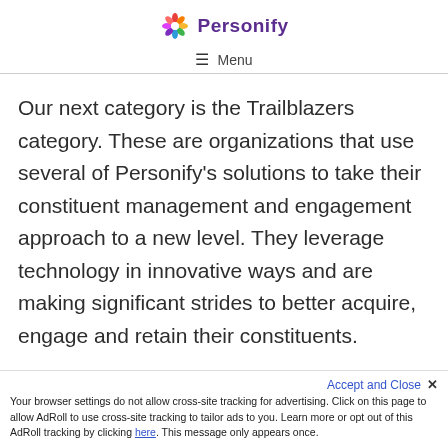Personify — Menu
Our next category is the Trailblazers category. These are organizations that use several of Personify's solutions to take their constituent management and engagement approach to a new level. They leverage technology in innovative ways and are making significant strides to better acquire, engage and retain their constituents.
Accept and Close ✕ Your browser settings do not allow cross-site tracking for advertising. Click on this page to allow AdRoll to use cross-site tracking to tailor ads to you. Learn more or opt out of this AdRoll tracking by clicking here. This message only appears once.